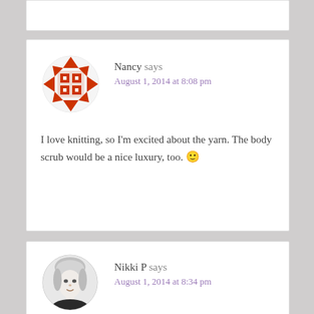Nancy says
August 1, 2014 at 8:08 pm
I love knitting, so I'm excited about the yarn. The body scrub would be a nice luxury, too. 🙂
Reply
Nikki P says
August 1, 2014 at 8:34 pm
Definitely excited about the yarn, I usually buy the